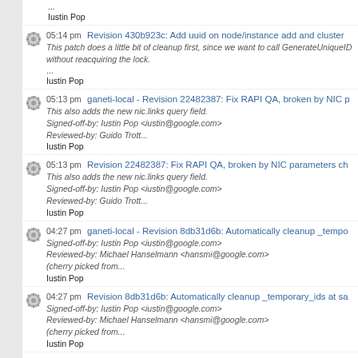...
Iustin Pop
05:14 pm Revision 430b923c: Add uuid on node/instance add and cluster
This patch does a little bit of cleanup first, since we want to call GenerateUniqueID without reacquiring the lock.
...
Iustin Pop
05:13 pm ganeti-local - Revision 22482387: Fix RAPI QA, broken by NIC p
This also adds the new nic.links query field.
Signed-off-by: Iustin Pop <iustin@google.com>
Reviewed-by: Guido Trott...
Iustin Pop
05:13 pm Revision 22482387: Fix RAPI QA, broken by NIC parameters ch
This also adds the new nic.links query field.
Signed-off-by: Iustin Pop <iustin@google.com>
Reviewed-by: Guido Trott...
Iustin Pop
04:27 pm ganeti-local - Revision 8db31d6b: Automatically cleanup _tempo
Signed-off-by: Iustin Pop <iustin@google.com>
Reviewed-by: Michael Hanselmann <hansmi@google.com>
(cherry picked from...
Iustin Pop
04:27 pm Revision 8db31d6b: Automatically cleanup _temporary_ids at sa
Signed-off-by: Iustin Pop <iustin@google.com>
Reviewed-by: Michael Hanselmann <hansmi@google.com>
(cherry picked from...
Iustin Pop
04:27 pm Revision 26b316d0: Separate the computation of all config IDs
We will need this in another place, so we abstract the 'compute all